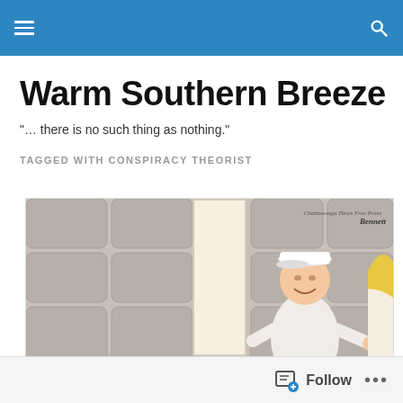Warm Southern Breeze — site header with hamburger menu and search icon
Warm Southern Breeze
"… there is no such thing as nothing."
TAGGED WITH CONSPIRACY THEORIST
[Figure (illustration): Editorial cartoon showing a person in white clothing and cap standing in a doorway of a padded cell, pointing at another person (blonde) partially visible at the right edge. Watermark reads 'Chattanooga Times Free Press Bennett'.]
Follow •••